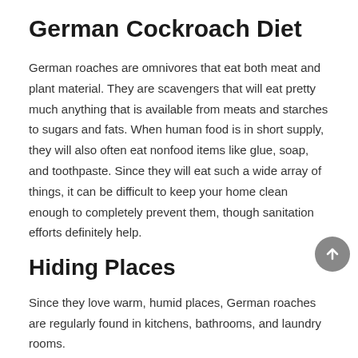German Cockroach Diet
German roaches are omnivores that eat both meat and plant material. They are scavengers that will eat pretty much anything that is available from meats and starches to sugars and fats. When human food is in short supply, they will also often eat nonfood items like glue, soap, and toothpaste. Since they will eat such a wide array of things, it can be difficult to keep your home clean enough to completely prevent them, though sanitation efforts definitely help.
Hiding Places
Since they love warm, humid places, German roaches are regularly found in kitchens, bathrooms, and laundry rooms.